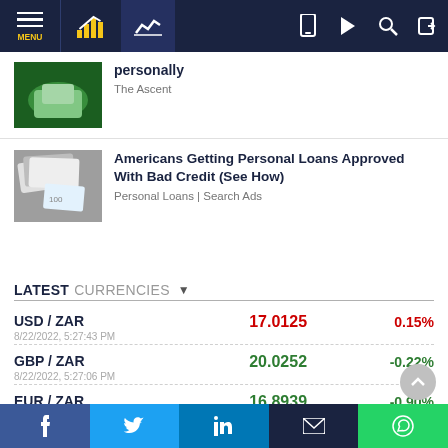MENU | [chart icon] | [line-chart icon] | [phone icon] | [play icon] | [search icon] | [login icon]
[Figure (screenshot): Thumbnail image of a hand holding a card over a green background]
personally
The Ascent
[Figure (photo): Thumbnail image of scattered US dollar bills and checks]
Americans Getting Personal Loans Approved With Bad Credit (See How)
Personal Loans | Search Ads
LATEST CURRENCIES
| Pair | Rate | Change |
| --- | --- | --- |
| USD / ZAR | 17.0125 | 0.15% |
| GBP / ZAR | 20.0252 | -0.22% |
| EUR / ZAR | 16.8939 | -0.90% |